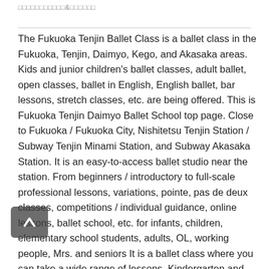□□□□□□□□□□□&□□□□□□
The Fukuoka Tenjin Ballet Class is a ballet class in the Fukuoka, Tenjin, Daimyo, Kego, and Akasaka areas. Kids and junior children's ballet classes, adult ballet, open classes, ballet in English, English ballet, bar lessons, stretch classes, etc. are being offered. This is Fukuoka Tenjin Daimyo Ballet School top page. Close to Fukuoka / Fukuoka City, Nishitetsu Tenjin Station / Subway Tenjin Minami Station, and Subway Akasaka Station. It is an easy-to-access ballet studio near the station. From beginners / introductory to full-scale professional lessons, variations, pointe, pas de deux classes, competitions / individual guidance, online lessons, ballet school, etc. for infants, children, elementary school students, adults, OL, working people, Mrs. and seniors It is a ballet class where you can take a wide range of lessons. Kindergarten and nursery school children are also easy to attend. Ballet and dance are also ideal for children, toddlers and kindergarten lessons, exercise, hobbies, education, expressiveness, flexibility, and perfect pitch training. Parents and children can enjoy learning. Many overseas guest